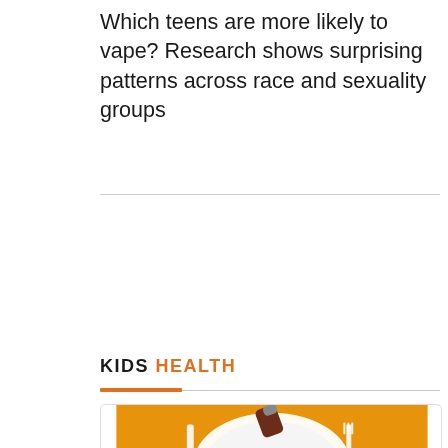Which teens are more likely to vape? Research shows surprising patterns across race and sexuality groups
KIDS HEALTH
[Figure (photo): Photo on orange background showing a white dinner plate with a knife on the left side, a fork on the right side, and a dark bottle (possibly syrup or medicine) tipping over toward the plate, with a cylindrical object above it.]